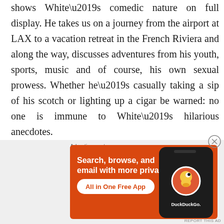shows White's comedic nature on full display. He takes us on a journey from the airport at LAX to a vacation retreat in the French Riviera and along the way, discusses adventures from his youth, sports, music and of course, his own sexual prowess. Whether he's casually taking a sip of his scotch or lighting up a cigar be warned: no one is immune to White's hilarious anecdotes.

In addition to the full “A Little
[Figure (other): DuckDuckGo advertisement banner with orange background showing 'Search, browse, and email with more privacy. All in One Free App' with a phone mockup showing the DuckDuckGo logo]